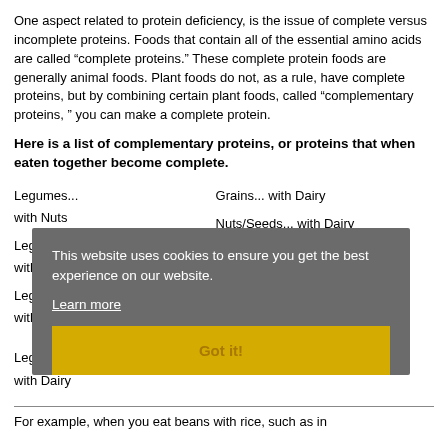One aspect related to protein deficiency, is the issue of complete versus incomplete proteins. Foods that contain all of the essential amino acids are called “complete proteins.” These complete protein foods are generally animal foods. Plant foods do not, as a rule, have complete proteins, but by combining certain plant foods, called “complementary proteins, ” you can make a complete protein.
Here is a list of complementary proteins, or proteins that when eaten together become complete.
Legumes... with Nuts
Grains... with Dairy
Nuts/Seeds... with Dairy
Legumes... with Grains
Nuts/Seeds... with Legumes
Legumes... with Seeds
Dairy... with Nuts/Seeds and Legumes
Legumes... with Dairy
For example, when you eat beans with rice, such as in